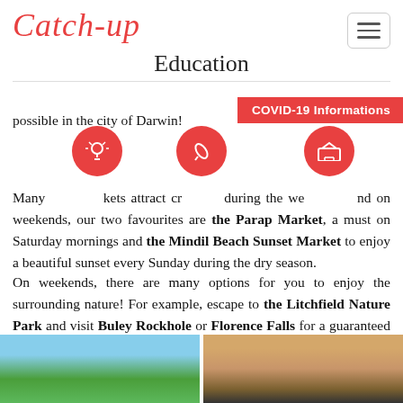Catch-up
Education
COVID-19 Informations
possible in the city of Darwin!

Many markets attract crowds during the weekends, our two favourites are the Parap Market, a must on Saturday mornings and the Mindil Beach Sunset Market to enjoy a beautiful sunset every Sunday during the dry season.
On weekends, there are many options for you to enjoy the surrounding nature! For example, escape to the Litchfield Nature Park and visit Buley Rockhole or Florence Falls for a guaranteed change of scenery!
[Figure (photo): Two outdoor photos side by side: left shows trees against a blue sky, right shows a sunset over water with silhouettes]